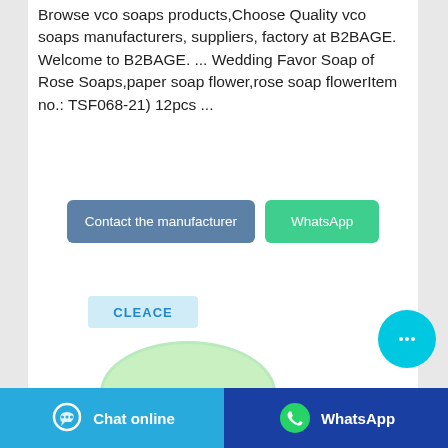Browse vco soaps products,Choose Quality vco soaps manufacturers, suppliers, factory at B2BAGE. Welcome to B2BAGE. ... Wedding Favor Soap of Rose Soaps,paper soap flower,rose soap flowerItem no.: TSF068-21) 12pcs ...
[Figure (screenshot): Two buttons: 'Contact the manufacturer' (blue-grey) and 'WhatsApp' (green)]
[Figure (photo): Product image showing a green oval soap bar with CLEACE branding logo above it]
[Figure (other): Floating chat bubble button (cyan circle with ellipsis)]
Chat online   WhatsApp